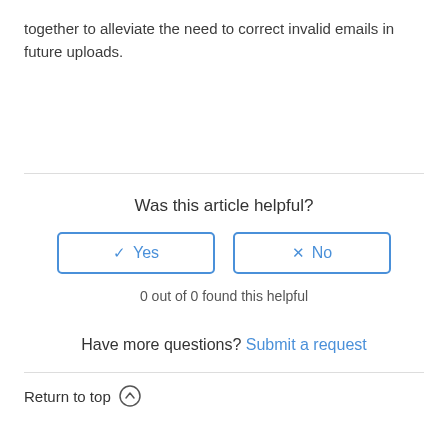together to alleviate the need to correct invalid emails in future uploads.
Was this article helpful?
0 out of 0 found this helpful
Have more questions? Submit a request
Return to top ↑